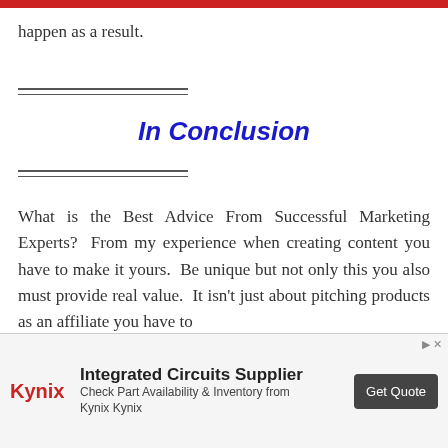happen as a result.
In Conclusion
What is the Best Advice From Successful Marketing Experts?  From my experience when creating content you have to make it yours.  Be unique but not only this you also must provide real value.  It isn't just about pitching products as an affiliate you have to
[Figure (infographic): Advertisement banner for Kynix: Integrated Circuits Supplier with Get Quote button]